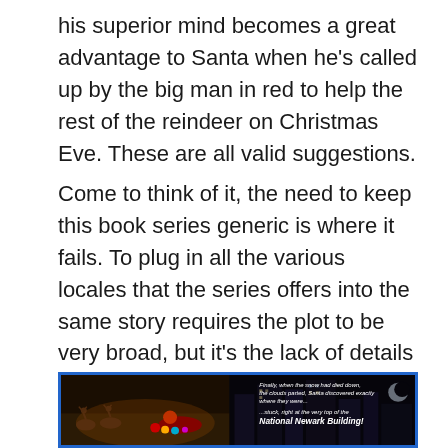his superior mind becomes a great advantage to Santa when he's called up by the big man in red to help the rest of the reindeer on Christmas Eve. These are all valid suggestions.
Come to think of it, the need to keep this book series generic is where it fails. To plug in all the various locales that the series offers into the same story requires the plot to be very broad, but it's the lack of details and character development that will hinder it from sitting on your shelf with the other yearly Christmas reads.
[Figure (illustration): A dark illustrated image with a blue border. Left side shows Santa and reindeer in a warm-toned illustrated scene. Right side shows a dark cityscape. Overlay text reads: 'Finally, when the snow had died down, the clouds parted, Santa discovered exactly where they were... ...stuck, right at the very top of the National Newark Building!']